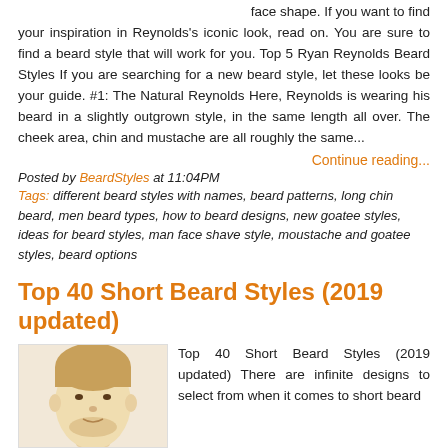face shape. If you want to find your inspiration in Reynolds's iconic look, read on. You are sure to find a beard style that will work for you. Top 5 Ryan Reynolds Beard Styles If you are searching for a new beard style, let these looks be your guide. #1: The Natural Reynolds Here, Reynolds is wearing his beard in a slightly outgrown style, in the same length all over. The cheek area, chin and mustache are all roughly the same...
Continue reading...
Posted by BeardStyles at 11:04PM
Tags: different beard styles with names, beard patterns, long chin beard, men beard types, how to beard designs, new goatee styles, ideas for beard styles, man face shave style, moustache and goatee styles, beard options
Top 40 Short Beard Styles (2019 updated)
[Figure (photo): Thumbnail photo of a man with short beard, shown from chin up with blonde hair against a light background]
Top 40 Short Beard Styles (2019 updated) There are infinite designs to select from when it comes to short beard